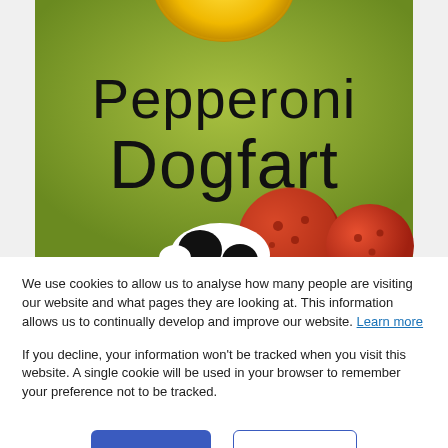[Figure (photo): Product packaging image on green background showing 'Pepperoni Dogfart' text in large dark font, with a yellow circular element at top and pepperoni/dog-shaped items at the bottom.]
We use cookies to allow us to analyse how many people are visiting our website and what pages they are looking at. This information allows us to continually develop and improve our website. Learn more
If you decline, your information won't be tracked when you visit this website. A single cookie will be used in your browser to remember your preference not to be tracked.